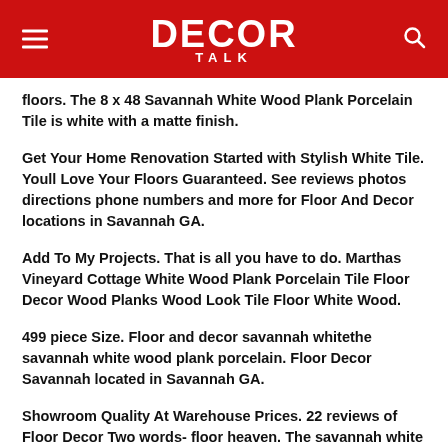DECOR TALK
floors. The 8 x 48 Savannah White Wood Plank Porcelain Tile is white with a matte finish.
Get Your Home Renovation Started with Stylish White Tile. Youll Love Your Floors Guaranteed. See reviews photos directions phone numbers and more for Floor And Decor locations in Savannah GA.
Add To My Projects. That is all you have to do. Marthas Vineyard Cottage White Wood Plank Porcelain Tile Floor Decor Wood Planks Wood Look Tile Floor White Wood.
499 piece Size. Floor and decor savannah whitethe savannah white wood plank porcelain. Floor Decor Savannah located in Savannah GA.
Showroom Quality At Warehouse Prices. 22 reviews of Floor Decor Two words- floor heaven. The savannah white wood plank porcelain tile will add a unique touch to any room or project.